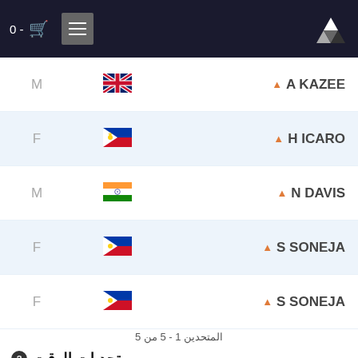Navigation header with logo, cart (0 items), and menu
| Position | Flag | Name |
| --- | --- | --- |
| M | UK | A KAZEE |
| F | Philippines | H ICARO |
| M | India | N DAVIS |
| F | Philippines | S SONEJA |
| F | Philippines | S SONEJA |
المتحدين 1 - 5 من 5
تحديات الوقت
يتيح لك الدخول في مسابقة لها وقت معين يسمح لك بالمشاركة عدة مرات كما تشاء دون الحاجة إلى التسجيل أكثر من مرة!
LONDON PARKS - VALENTINES
التحدي متوفر من 01 Oct 2020 و 31 Oct 2020
قم بالعرض على سترافا